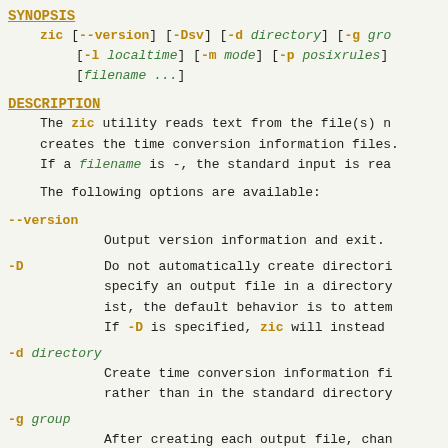SYNOPSIS
zic [--version] [-Dsv] [-d directory] [-g group] [-l localtime] [-m mode] [-p posixrules] [filename ...]
DESCRIPTION
The zic utility reads text from the file(s) named on the command line and creates the time conversion information files. If a filename is -, the standard input is read.
The following options are available:
--version
    Output version information and exit.
-D    Do not automatically create directories. If you specify an output file in a directory that does not exist, the default behavior is to attempt to create it. If -D is specified, zic will instead...
-d directory
    Create time conversion information files in the named directory rather than in the standard directory.
-g group
    After creating each output file, change the group of the file to the specified group (which can be either a group name or a numeric group ID).